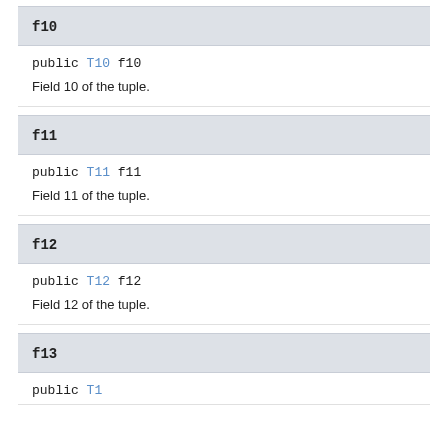f10
public T10 f10
Field 10 of the tuple.
f11
public T11 f11
Field 11 of the tuple.
f12
public T12 f12
Field 12 of the tuple.
f13